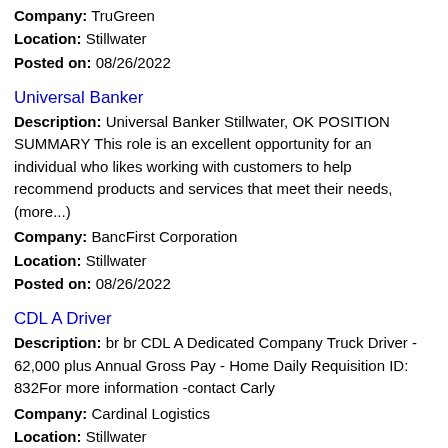Company: TruGreen
Location: Stillwater
Posted on: 08/26/2022
Universal Banker
Description: Universal Banker Stillwater, OK POSITION SUMMARY This role is an excellent opportunity for an individual who likes working with customers to help recommend products and services that meet their needs, (more...)
Company: BancFirst Corporation
Location: Stillwater
Posted on: 08/26/2022
CDL A Driver
Description: br br CDL A Dedicated Company Truck Driver - 62,000 plus Annual Gross Pay - Home Daily Requisition ID: 832For more information -contact Carly
Company: Cardinal Logistics
Location: Stillwater
Posted on: 08/26/2022
Loading more jobs...
Log In or Create An Account